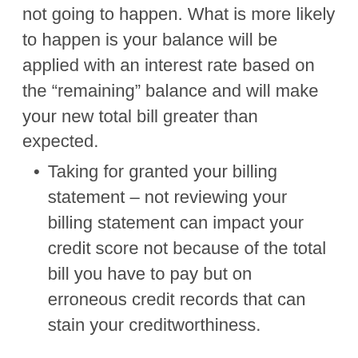not going to happen. What is more likely to happen is your balance will be applied with an interest rate based on the “remaining” balance and will make your new total bill greater than expected.
Taking for granted your billing statement – not reviewing your billing statement can impact your credit score not because of the total bill you have to pay but on erroneous credit records that can stain your creditworthiness.